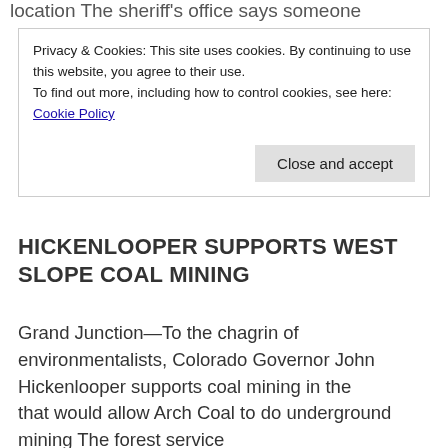location  The sheriff's office says someone
Privacy & Cookies: This site uses cookies. By continuing to use this website, you agree to their use.
To find out more, including how to control cookies, see here:
Cookie Policy
Close and accept
HICKENLOOPER SUPPORTS WEST SLOPE COAL MINING
Grand Junction—To the chagrin of environmentalists, Colorado Governor John Hickenlooper supports coal mining in the
that would allow Arch Coal to do underground mining  The forest service